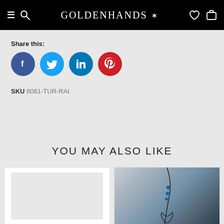GOLDENHANDS
Share this:
[Figure (other): Four social media share buttons: Facebook (blue), Twitter (cyan), LinkedIn (blue), Pinterest (red)]
SKU 8061-TUR-RAI
YOU MAY ALSO LIKE
[Figure (photo): Two product card thumbnails partially visible at bottom of page]